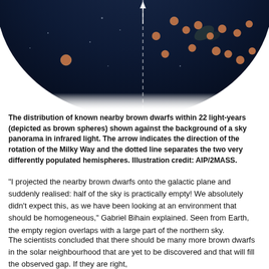[Figure (photo): A circular sky panorama in infrared light showing a dark blue/navy background with glowing orange-brown spheres representing nearby brown dwarfs, a vertical dashed white line dividing two hemispheres, and a white arrow at the top center.]
The distribution of known nearby brown dwarfs within 22 light-years (depicted as brown spheres) shown against the background of a sky panorama in infrared light. The arrow indicates the direction of the rotation of the Milky Way and the dotted line separates the two very differently populated hemispheres. Illustration credit: AIP/2MASS.
“I projected the nearby brown dwarfs onto the galactic plane and suddenly realised: half of the sky is practically empty! We absolutely didn’t expect this, as we have been looking at an environment that should be homogeneous,” Gabriel Bihain explained. Seen from Earth, the empty region overlaps with a large part of the northern sky.
The scientists concluded that there should be many more brown dwarfs in the solar neighbourhood that are yet to be discovered and that will fill the observed gap. If they are right,